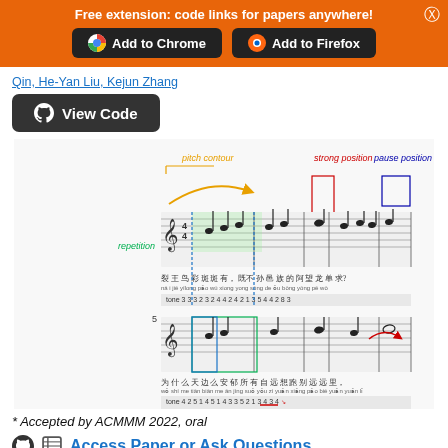Free extension: code links for papers anywhere!
[Figure (screenshot): Banner with Add to Chrome and Add to Firefox buttons on orange background]
Qin, He-Yan Liu, Kejun Zhang
[Figure (screenshot): View Code button with GitHub Octocat icon on dark background]
[Figure (illustration): Music score annotation diagram showing pitch contour, strong position, pause position, repetition, weak position, pitch transition and pitch steps labels on a Chinese folk song score]
* Accepted by ACMMM 2022, oral
Access Paper or Ask Questions
[Figure (illustration): Social media icons row: Twitter, Facebook, LinkedIn, WhatsApp, Messenger, Email]